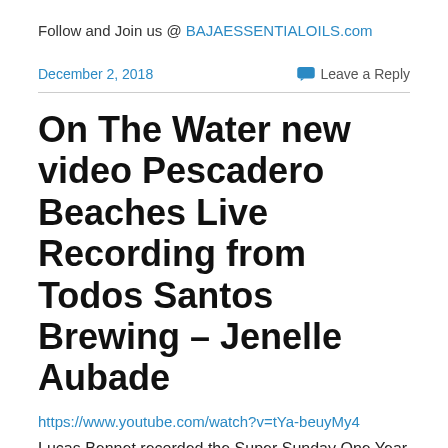Follow and Join us @ BAJAESSENTIALOILS.com
December 2, 2018
Leave a Reply
On The Water new video Pescadero Beaches Live Recording from Todos Santos Brewing – Jenelle Aubade
https://www.youtube.com/watch?v=tYa-beuyMy4
Lucas Bennet recorded the Super Sunday One Year Anni Party Music Event on June 10th 2018. I debuted a new song late in the evening and have put it together in a video with some ocean shots from my local beach  in